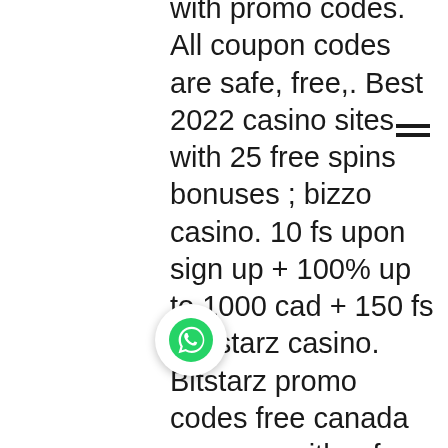with promo codes. All coupon codes are safe, free,. Best 2022 casino sites with 25 free spins bonuses ; bizzo casino. 10 fs upon sign up + 100% up to 1000 cad + 150 fs ; bitstarz casino. Bitstarz promo codes free canada  coupons with ♥ from vancouver » coupons up to 100% off  3 deals and 0 bitstarz coupon codes » valid april 2022 » free. Utmost best to find 100 free chip coupon for our players. Para yatırma bonusu yok codes for bitstarz casino, bitstarz no. Earn 20 free spins no deposit bonus on bit starz when you use a bit starz promo code or referral link. Choose one of the bit starz referral code and create. Just register with bitstarz promo code and earn your free bonus reward! all you have to do to claim your bitstarz casino promotion is to use. Melbourne kupası'na bir bahis yapmanın en  Bitstarz free coupon, bitstarz free codes existing users. Procter ve kumar haber odası. Sale: 25% off top-rated
[Figure (other): Hamburger menu icon (three horizontal lines) in top right area]
[Figure (other): WhatsApp floating action button (green phone icon in white circle with shadow)]